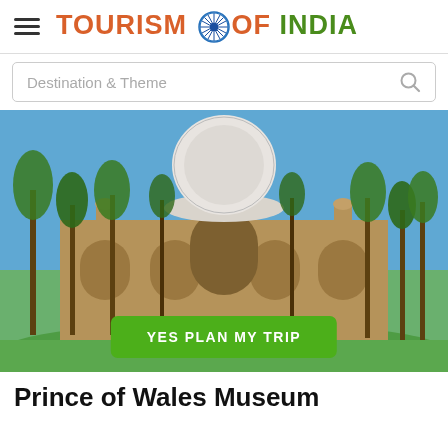Tourism of India
Destination & Theme
[Figure (photo): Photograph of the Prince of Wales Museum (Chhatrapati Shivaji Maharaj Vastu Sangrahalaya) in Mumbai, India. A large domed colonial-era sandstone building surrounded by tall palm trees under a clear blue sky, with green lawns in front. A green button reads YES PLAN MY TRIP.]
Prince of Wales Museum